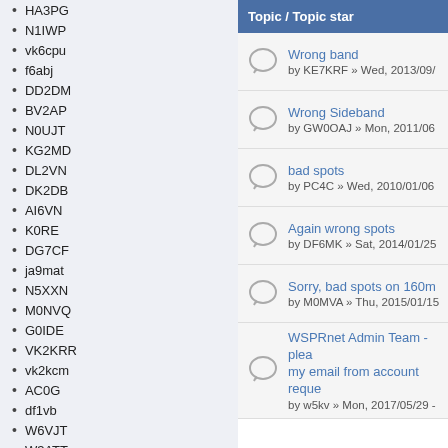HA3PG
N1IWP
vk6cpu
f6abj
DD2DM
BV2AP
N0UJT
KG2MD
DL2VN
DK2DB
AI6VN
K0RE
DG7CF
ja9mat
N5XXN
M0NVQ
G0IDE
VK2KRR
vk2kcm
AC0G
df1vb
W6VJT
W3ATT
DL6NL
DB1NN
KI6JL
Topic / Topic star
Wrong band
by KE7KRF » Wed, 2013/09/
Wrong Sideband
by GW0OAJ » Mon, 2011/06
bad spots
by PC4C » Wed, 2010/01/06
Again wrong spots
by DF6MK » Sat, 2014/01/25
Sorry, bad spots on 160m
by M0MVA » Thu, 2015/01/15
WSPRnet Admin Team - plea
my email from account reque
by w5kv » Mon, 2017/05/29 -